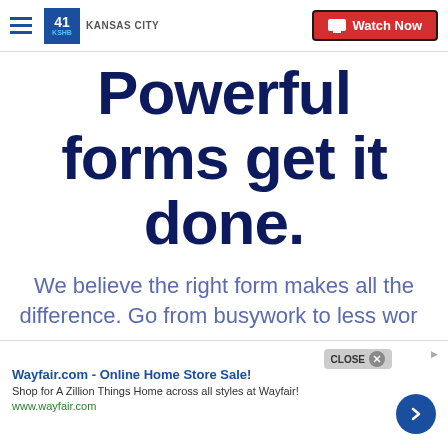41 KSHB KANSAS CITY — Watch Now
Powerful forms get it done.
We believe the right form makes all the difference. Go from busywork to less wor…
[Figure (screenshot): Advertisement banner for Wayfair.com - Online Home Store Sale! with close button and navigation arrow]